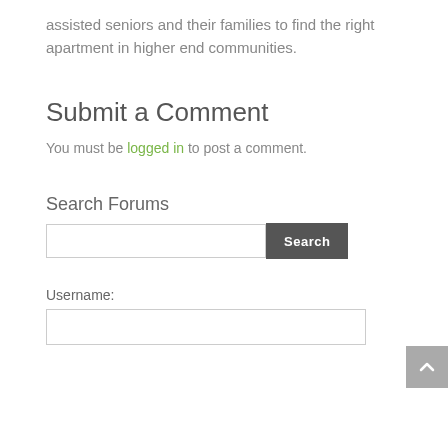assisted seniors and their families to find the right apartment in higher end communities.
Submit a Comment
You must be logged in to post a comment.
Search Forums
Username: